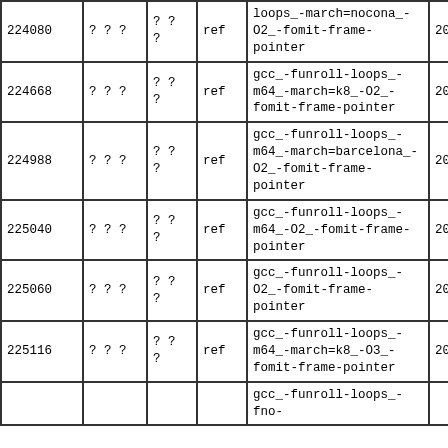| 224080 | ? ? ? | ? ?
? | ref | loops_-march=nocona_-O2_-fomit-frame-pointer | 20170- |
| 224668 | ? ? ? | ? ?
? | ref | gcc_-funroll-loops_-m64_-march=k8_-O2_-fomit-frame-pointer | 20170- |
| 224988 | ? ? ? | ? ?
? | ref | gcc_-funroll-loops_-m64_-march=barcelona_-O2_-fomit-frame-pointer | 20170- |
| 225040 | ? ? ? | ? ?
? | ref | gcc_-funroll-loops_-m64_-O2_-fomit-frame-pointer | 20170- |
| 225060 | ? ? ? | ? ?
? | ref | gcc_-funroll-loops_-O2_-fomit-frame-pointer | 20170- |
| 225116 | ? ? ? | ? ?
? | ref | gcc_-funroll-loops_-m64_-march=k8_-O3_-fomit-frame-pointer | 20170- |
|  |  |  |  | gcc_-funroll-loops_-fno- |  |